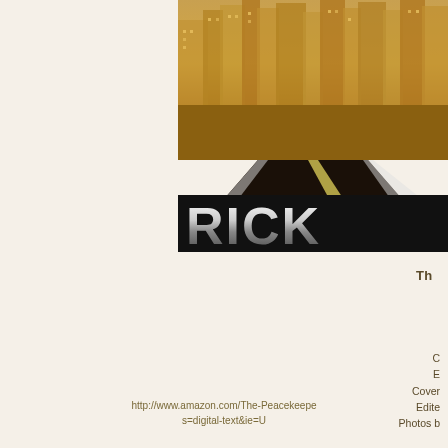[Figure (photo): Book cover partially visible — road leading toward a city skyline with golden/sepia tones, large bold chrome-style text 'RICK' visible at bottom of cover image]
The
C
E
Cover
Edited
Photos b
http://www.amazon.com/The-Peacekeepe s=digital-text&ie=U